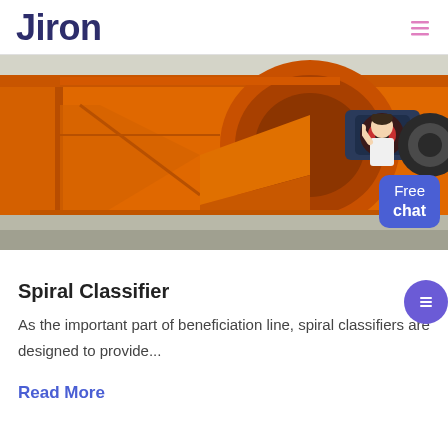Jiron
[Figure (photo): Orange spiral classifier industrial machine photographed outdoors, showing heavy steel framework, a blue electric motor, and mechanical components. A 'Free chat' button overlay and customer service avatar are visible in the bottom right corner.]
Spiral Classifier
As the important part of beneficiation line, spiral classifiers are designed to provide...
Read More